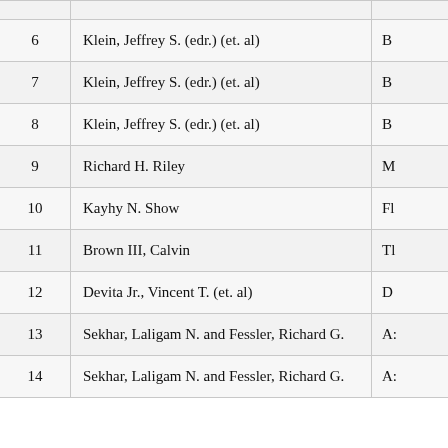| # | Author | Initial |
| --- | --- | --- |
| 6 | Klein, Jeffrey S. (edr.) (et. al) | B |
| 7 | Klein, Jeffrey S. (edr.) (et. al) | B |
| 8 | Klein, Jeffrey S. (edr.) (et. al) | B |
| 9 | Richard H. Riley | M |
| 10 | Kayhy N. Show | Fl |
| 11 | Brown III, Calvin | Tl |
| 12 | Devita Jr., Vincent T. (et. al) | D |
| 13 | Sekhar, Laligam N. and Fessler, Richard G. | A: |
| 14 | Sekhar, Laligam N. and Fessler, Richard G. | A: |